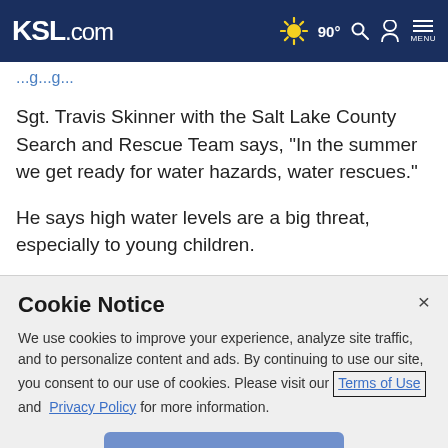KSL.com  ☀ 90°  🔍  👤  MENU
...g...g...
Sgt. Travis Skinner with the Salt Lake County Search and Rescue Team says, "In the summer we get ready for water hazards, water rescues."
He says high water levels are a big threat, especially to young children.
Cookie Notice
We use cookies to improve your experience, analyze site traffic, and to personalize content and ads. By continuing to use our site, you consent to our use of cookies. Please visit our Terms of Use and Privacy Policy for more information.
Continue